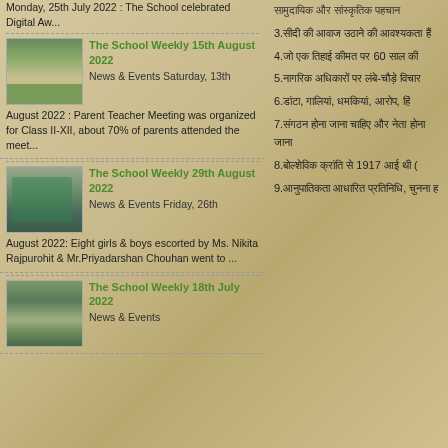Monday, 25th July 2022 : The School celebrated Digital Aw...
The School Weekly 15th August 2022
News & Events Saturday, 13th August 2022 : Parent Teacher Meeting was organized for Class II-XII, about 70% of parents attended the meet...
[Figure (photo): School outdoor gathering photo for 15th August 2022]
The School Weekly 29th August 2022
News & Events Friday, 26th August 2022: Eight girls & boys escorted by Ms. Nikita Rajpurohit & Mr.Priyadarshan Chouhan went to ...
[Figure (photo): Group photo of students in green uniforms for 29th August 2022]
The School Weekly 18th July 2022
News & Events
[Figure (photo): School weekly photo collage for 18th July 2022]
सामुदायिक और सांस्कृतिक पहचान
3.सीधी की आवाज उठाने की आवश्यकता है
4.जो एक तिहाई कीमत पर 60 साल की
5.नागरिक अधिकारों पर लंबे-चौड़े विचार
6.डांटा, गालियां, धमकियां, आरोप, हिं
7.संगठन होना जाना चाहिए और नेता होना जाना
8.बोल्शेविक क्रांति से 1917 आई थी (
9.आनुपातिकता आधारित प्रतिनिधि, चुनना ह